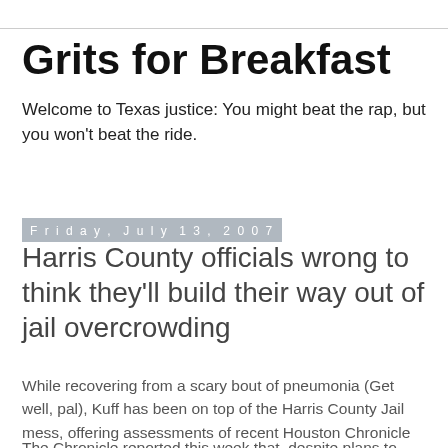Grits for Breakfast
Welcome to Texas justice: You might beat the rap, but you won't beat the ride.
Friday, July 13, 2007
Harris County officials wrong to think they'll build their way out of jail overcrowding
While recovering from a scary bout of pneumonia (Get well, pal), Kuff has been on top of the Harris County Jail mess, offering assessments of recent Houston Chronicle coverage of understaffing problems and plans to outsource inmates to other states here and here.
The Chronicle reported this week that, despite plans to build new jail space, Harris County cannot staff the facilities it